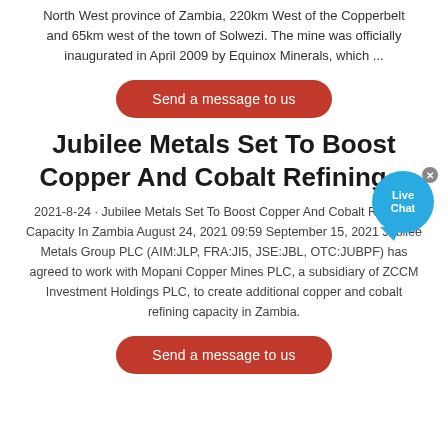North West province of Zambia, 220km West of the Copperbelt and 65km west of the town of Solwezi. The mine was officially inaugurated in April 2009 by Equinox Minerals, which ...
Send a message to us
Jubilee Metals Set To Boost Copper And Cobalt Refining...
2021-8-24 · Jubilee Metals Set To Boost Copper And Cobalt Refining Capacity In Zambia August 24, 2021 09:59 September 15, 2021 Jubilee Metals Group PLC (AIM:JLP, FRA:JI5, JSE:JBL, OTC:JUBPF) has agreed to work with Mopani Copper Mines PLC, a subsidiary of ZCCM Investment Holdings PLC, to create additional copper and cobalt refining capacity in Zambia.
Send a message to us